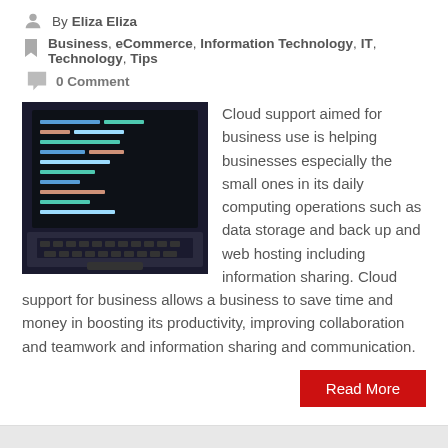By Eliza Eliza
Business, eCommerce, Information Technology, IT, Technology, Tips
0 Comment
[Figure (photo): Laptop keyboard with code on screen, dark background]
Cloud support aimed for business use is helping businesses especially the small ones in its daily computing operations such as data storage and back up and web hosting including information sharing. Cloud support for business allows a business to save time and money in boosting its productivity, improving collaboration and teamwork and information sharing and communication.
Read More
28 Jan 2020
Simple Ways to Finding Managed IT Support Services in Sydney